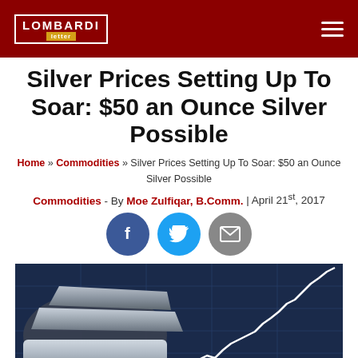Lombardi Letter
Silver Prices Setting Up To Soar: $50 an Ounce Silver Possible
Home » Commodities » Silver Prices Setting Up To Soar: $50 an Ounce Silver Possible
Commodities - By Moe Zulfiqar, B.Comm. | April 21st, 2017
[Figure (photo): Silver bars/ingots on a blue financial chart background with a rising white line chart]
[Figure (other): Social sharing icons: Facebook, Twitter, Email]